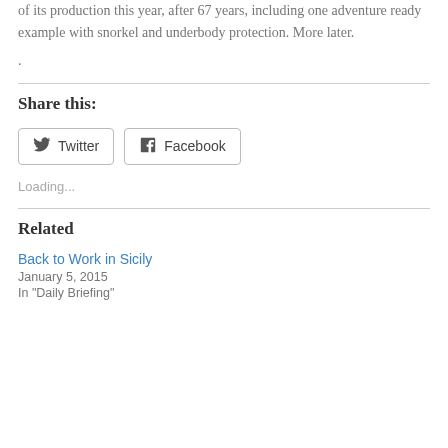of its production this year, after 67 years, including one adventure ready example with snorkel and underbody protection. More later.
.
Share this:
Twitter Facebook
Loading...
Related
Back to Work in Sicily
January 5, 2015
In "Daily Briefing"